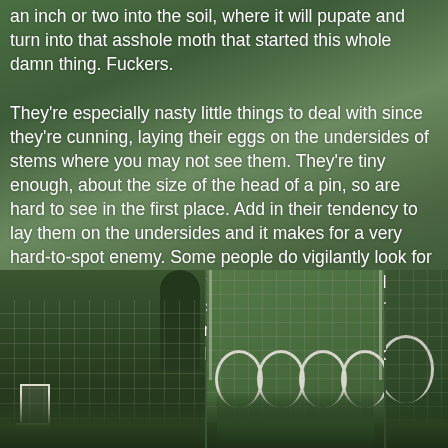an inch or two into the soil, where it will pupate and turn into that asshole moth that started this whole damn thing.  Fuckers.

They're especially nasty little things to deal with since they're cunning, laying their eggs on the undersides of stems where you may not see them.  They're tiny enough, about the size of the head of a pin, so are hard to see in the first place.  Add in their tendency to lay them on the undersides and it makes for a very hard-to-spot enemy.  Some people do vigilantly look for them, especially spotting the ones laid on the sides or tops, and dispatch them, so I think those overachievers are helping to breed smarter borer moths who consistently lay them underneath, hiding them from the rest of the slackers us.
[Figure (photo): Three garden photos showing a garden bed covered with black netting stretched over white PVC pipe hoops, with a white chair visible on the left side]